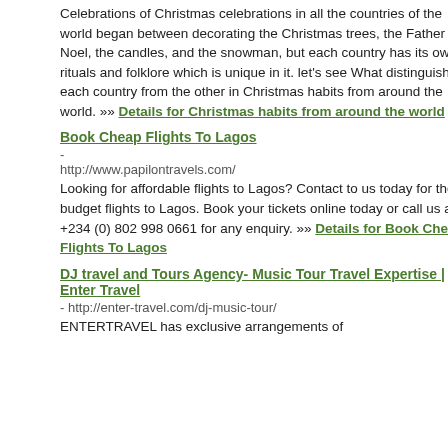Celebrations of Christmas celebrations in all the countries of the world began between decorating the Christmas trees, the Father of Noel, the candles, and the snowman, but each country has its own rituals and folklore which is unique in it. let's see What distinguishes each country from the other in Christmas habits from around the world. »» Details for Christmas habits from around the world
Book Cheap Flights To Lagos
- http://www.papilontravels.com/
Looking for affordable flights to Lagos? Contact to us today for the budget flights to Lagos. Book your tickets online today or call us at +234 (0) 802 998 0661 for any enquiry. »» Details for Book Cheap Flights To Lagos
DJ travel and Tours Agency- Music Tour Travel Expertise | Enter Travel
- http://enter-travel.com/dj-music-tour/
ENTERTRAVEL has exclusive arrangements of